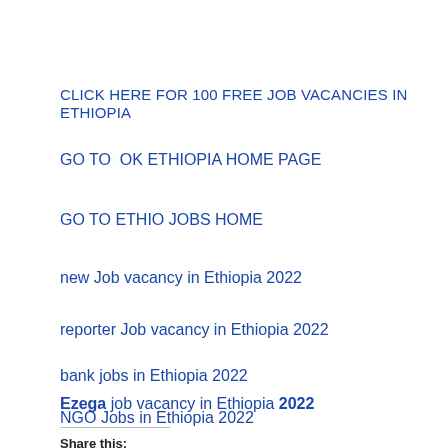CLICK HERE FOR 100 FREE JOB VACANCIES IN ETHIOPIA
GO TO  OK ETHIOPIA HOME PAGE
GO TO ETHIO JOBS HOME
new Job vacancy in Ethiopia 2022
reporter Job vacancy in Ethiopia 2022
bank jobs in Ethiopia 2022
NGO Jobs in Ethiopia 2022
Ezega job vacancy in Ethiopia 2022
Share this: